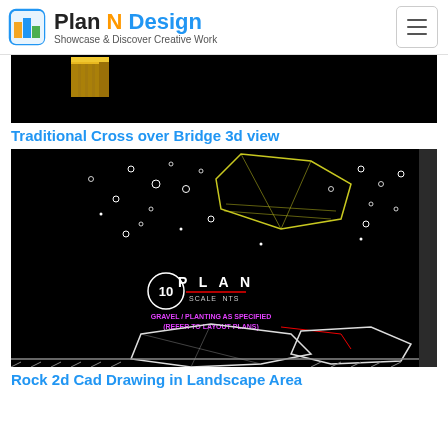Plan N Design – Showcase & Discover Creative Work
[Figure (photo): Partial view of a 3D rendered traditional cross over bridge model on black background]
Traditional Cross over Bridge 3d view
[Figure (engineering-diagram): Rock 2d CAD drawing in landscape area on black background showing plan view with rocks, gravel/planting notes and scale indicator]
Rock 2d Cad Drawing in Landscape Area